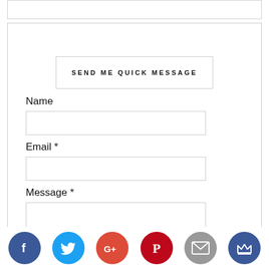SEND ME QUICK MESSAGE
Name
Email *
Message *
Send
[Figure (infographic): Row of six social media icon circles: Facebook (dark blue, f), Twitter (light blue, bird), Google+ (red-orange, G+), Pinterest (red, P), Email (gray, envelope), Crown/other (dark blue, crown)]